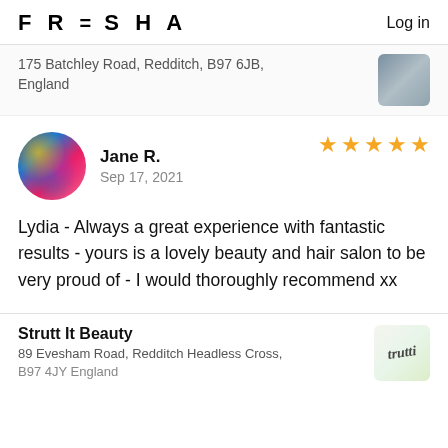FRESHA  Log in
175 Batchley Road, Redditch, B97 6JB, England
Jane R.
Sep 17, 2021
★★★★★
Lydia - Always a great experience with fantastic results - yours is a lovely beauty and hair salon to be very proud of - I would thoroughly recommend xx
Strutt It Beauty
89 Evesham Road, Redditch Headless Cross, B97 4JY England